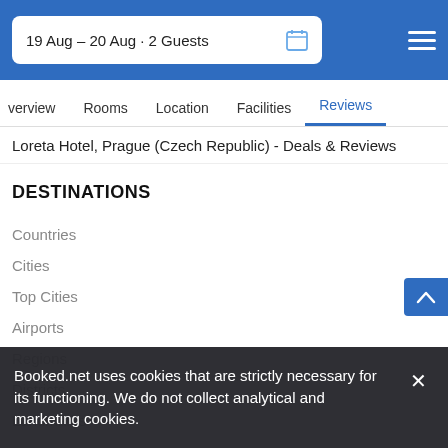19 Aug – 20 Aug · 2 Guests
verview   Rooms   Location   Facilities   Reviews
Loreta Hotel, Prague (Czech Republic) - Deals & Reviews
DESTINATIONS
Countries
Cities
Top Cities
Airports
Regions
Districts
Landmarks
Booked.net uses cookies that are strictly necessary for its functioning. We do not collect analytical and marketing cookies.